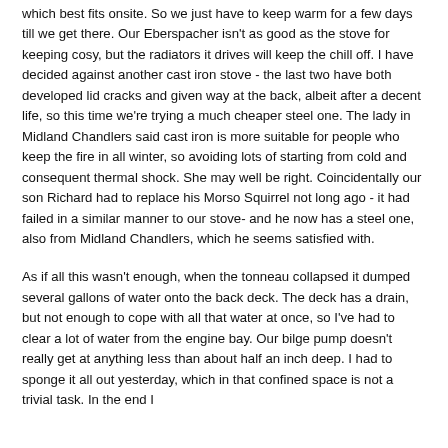which best fits onsite.  So we just have to keep warm for a few days till we get there.  Our Eberspacher isn't as good as the stove for keeping cosy, but the radiators it drives will keep the chill off.  I have decided against another cast iron stove - the last two have both developed lid cracks and given way at the back, albeit after a decent life, so this time we're trying a much cheaper steel one.  The lady in Midland Chandlers said cast iron is more suitable for people who keep the fire in all winter, so avoiding lots of starting from cold and consequent thermal shock. She may well be right.  Coincidentally our son Richard had to replace his Morso Squirrel not long ago  - it had failed in a similar manner to our stove- and he now has a steel one, also from Midland Chandlers, which he seems satisfied with.
As if all this wasn't enough, when the tonneau collapsed it dumped several gallons of water onto the back deck.  The deck has a drain, but not enough to cope with all that water at once, so I've had to clear a lot of water from the engine bay. Our bilge pump doesn't really get at anything less than about half an inch deep.  I had to sponge it all out yesterday, which in that confined space is not a trivial task.  In the end I